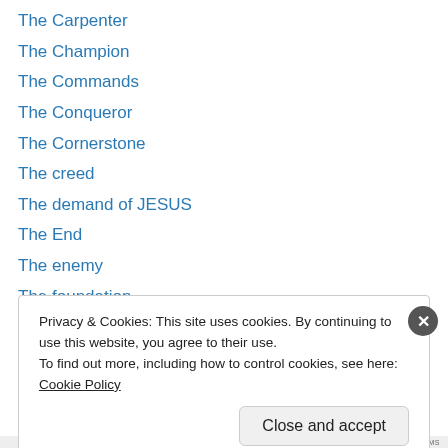The Carpenter
The Champion
The Commands
The Conqueror
The Cornerstone
The creed
The demand of JESUS
The End
The enemy
The foundation
The frontier boys
The Galaxy
The gate
Privacy & Cookies: This site uses cookies. By continuing to use this website, you agree to their use. To find out more, including how to control cookies, see here: Cookie Policy
Close and accept